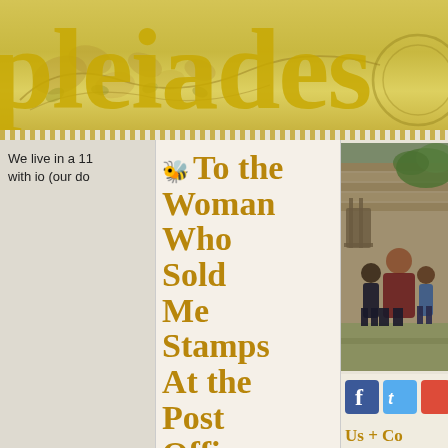[Figure (illustration): Pleiades blog/magazine header banner with large gold serif text reading 'pleiades' and decorative floral vine illustrations in gold and beige tones]
We live in a 11 with io (our do
[Figure (illustration): Bee icon (honeybee emoji/symbol) in gold color used as a bullet before the article title]
To the Woman Who Sold Me Stamps At the Post Office Today:
[Figure (photo): Photo of a woman and two children sitting on steps of what appears to be a rustic wooden porch or cabin]
[Figure (other): Social media icons: Facebook (blue 'f') and Twitter (blue bird/t) icon buttons]
Us + Co